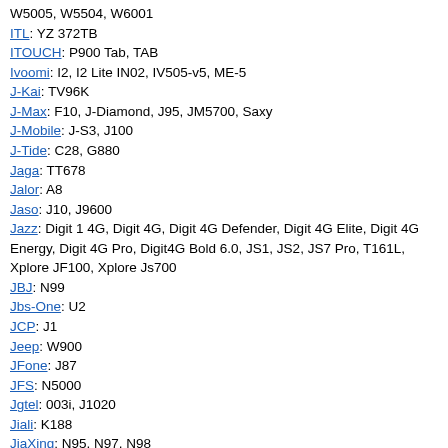W5005, W5504, W6001
ITL: YZ 372TB
ITOUCH: P900 Tab, TAB
Ivoomi: I2, I2 Lite IN02, IV505-v5, ME-5
J-Kai: TV96K
J-Max: F10, J-Diamond, J95, JM5700, Saxy
J-Mobile: J-S3, J100
J-Tide: C28, G880
Jaga: TT678
Jalor: A8
Jaso: J10, J9600
Jazz: Digit 1 4G, Digit 4G, Digit 4G Defender, Digit 4G Elite, Digit 4G Energy, Digit 4G Pro, Digit4G Bold 6.0, JS1, JS2, JS7 Pro, T161L, Xplore JF100, Xplore Js700
JBJ: N99
Jbs-One: U2
JCP: J1
Jeep: W900
JFone: J87
JFS: N5000
Jgtel: 003i, J1020
Jiali: K188
JiaXing: N95, N97, N98
Jiayu: JY-G2F, JY-G3
Jin: D898
Jin-Ke: E100
Jincen: 528, 618S+, 666, 678S, JC E2, JC E6, JC51, JC618S, JC6700, W400s
Jing-Ling: E81TV
Jinga: A400, Neon
JingCheng: JC666S
Jinke: E100, E100-TriBand